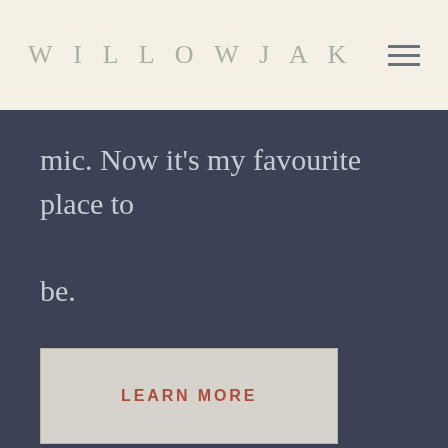WILLOWJAK
mic. Now it's my favourite place to be.
LEARN MORE